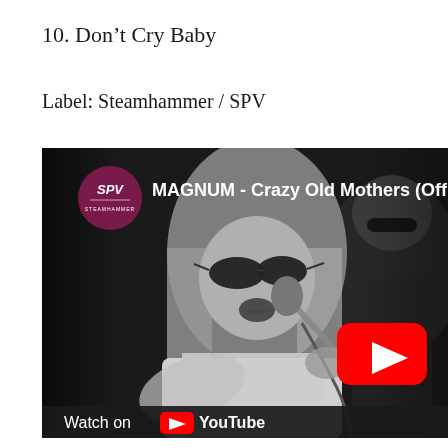10. Don't Cry Baby
Label: Steamhammer / SPV
[Figure (screenshot): YouTube video thumbnail showing MAGNUM - Crazy Old Mothers (Official Video). Black and white photo of a singer performing with a microphone, wearing sunglasses and a white shirt, with another musician in the background. YouTube play button (red with white triangle) overlaid on the right side. SPV logo in top-left corner. 'Watch on YouTube' bar at the bottom.]